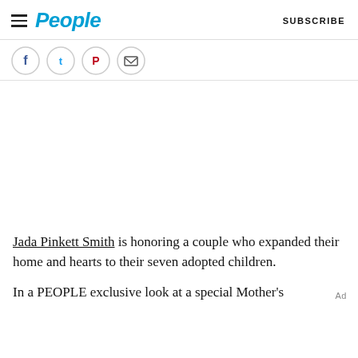People  SUBSCRIBE
[Figure (infographic): Four social media share icon circles (Facebook, Twitter, Pinterest, Email/more) in a horizontal row]
Jada Pinkett Smith is honoring a couple who expanded their home and hearts to their seven adopted children.
In a PEOPLE exclusive look at a special Mother's